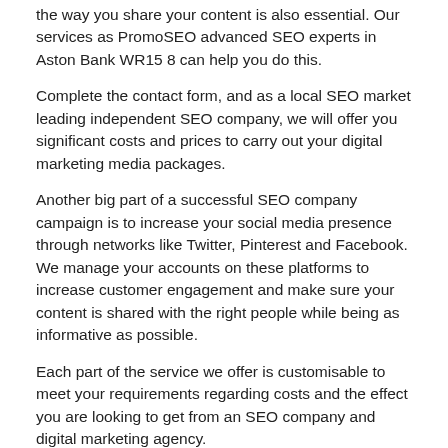the way you share your content is also essential. Our services as PromoSEO advanced SEO experts in Aston Bank WR15 8 can help you do this.
Complete the contact form, and as a local SEO market leading independent SEO company, we will offer you significant costs and prices to carry out your digital marketing media packages.
Another big part of a successful SEO company campaign is to increase your social media presence through networks like Twitter, Pinterest and Facebook. We manage your accounts on these platforms to increase customer engagement and make sure your content is shared with the right people while being as informative as possible.
Each part of the service we offer is customisable to meet your requirements regarding costs and the effect you are looking to get from an SEO company and digital marketing agency.
iGaming SEO Specialists
A huge business sector we work closely in is the iGaming online